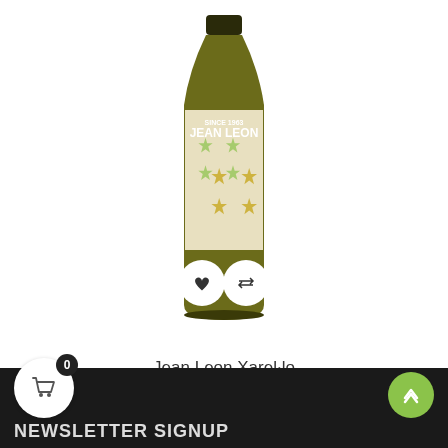[Figure (photo): Jean Leon Xarel·lo wine bottle with decorative floral label, showing the brand name SINCE 1963 JEAN LEON. Two circular buttons overlay the bottle image - a heart/wishlist button and a compare/arrows button.]
Jean Leon Xarel·lo
€14.26  -€0.55  €13.71
Showing 1-9 of 9 item(s)
NEWSLETTER SIGNUP